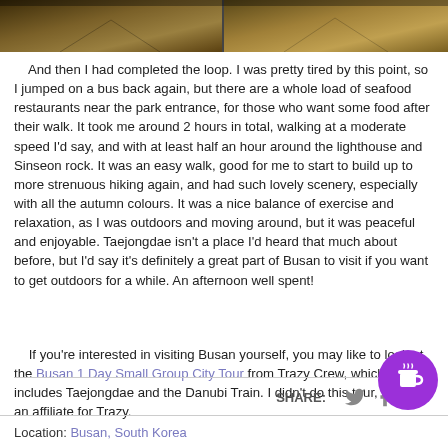[Figure (photo): Two side-by-side photos of an autumn tree-lined path or road, with warm golden/brown foliage]
And then I had completed the loop. I was pretty tired by this point, so I jumped on a bus back again, but there are a whole load of seafood restaurants near the park entrance, for those who want some food after their walk. It took me around 2 hours in total, walking at a moderate speed I'd say, and with at least half an hour around the lighthouse and Sinseon rock. It was an easy walk, good for me to start to build up to more strenuous hiking again, and had such lovely scenery, especially with all the autumn colours. It was a nice balance of exercise and relaxation, as I was outdoors and moving around, but it was peaceful and enjoyable. Taejongdae isn't a place I'd heard that much about before, but I'd say it's definitely a great part of Busan to visit if you want to get outdoors for a while. An afternoon well spent!
If you're interested in visiting Busan yourself, you may like to look at the Busan 1 Day Small Group City Tour from Trazy Crew, which includes Taejongdae and the Danubi Train. I didn't do this tour, but I am an affiliate for Trazy.
Location: Busan, South Korea